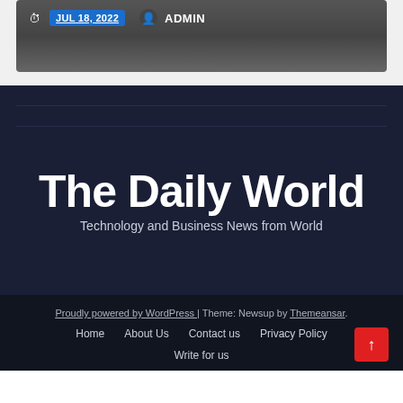JUL 18, 2022  ADMIN
The Daily World
Technology and Business News from World
Proudly powered by WordPress | Theme: Newsup by Themeansar.
Home
About Us
Contact us
Privacy Policy
Write for us